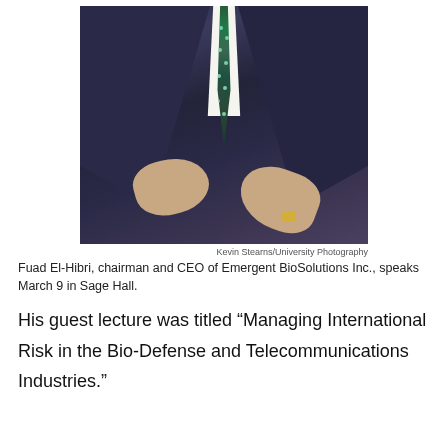[Figure (photo): A man in a dark pinstripe suit with a green patterned tie gestures with both hands while speaking. Only the torso and hands are visible. Background shows wood-paneled wall.]
Kevin Stearns/University Photography
Fuad El-Hibri, chairman and CEO of Emergent BioSolutions Inc., speaks March 9 in Sage Hall.
His guest lecture was titled “Managing International Risk in the Bio-Defense and Telecommunications Industries.”